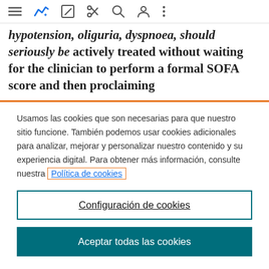[Toolbar with menu, chart, edit, scissors, search, person, more icons]
hypotension, oliguria, dyspnoea, should seriously be actively treated without waiting for the clinician to perform a formal SOFA score and then proclaiming
Usamos las cookies que son necesarias para que nuestro sitio funcione. También podemos usar cookies adicionales para analizar, mejorar y personalizar nuestro contenido y su experiencia digital. Para obtener más información, consulte nuestra Política de cookies
Configuración de cookies
Aceptar todas las cookies